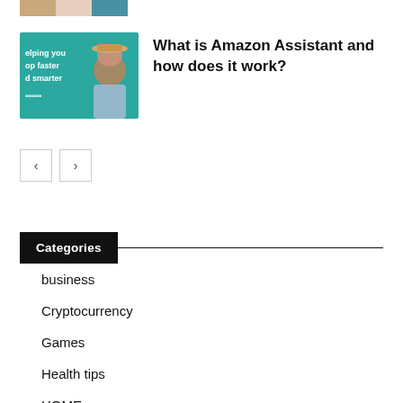[Figure (photo): Partially visible image strip at the top of the page]
[Figure (photo): Thumbnail image with teal/green background showing a woman wearing a hat, with text 'helping you shop faster and smarter']
What is Amazon Assistant and how does it work?
Categories
business
Cryptocurrency
Games
Health tips
HOME
Instagram